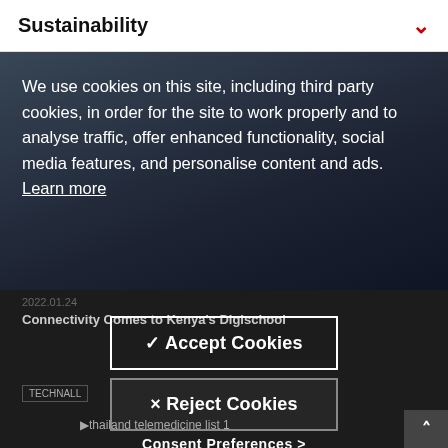Sustainability
[Figure (photo): Dark photo of people, partially visible in the background behind a cookie consent overlay]
We use cookies on this site, including third party cookies, in order for the site to work properly and to analyse traffic, offer enhanced functionality, social media features, and personalise content and ads. Learn more
2022.01.24
Connectivity Comes to Kenya's Digischool
√ Accept Cookies
× Reject Cookies
Consent Preferences >
TECHNALL
thailand telemedicine list 1